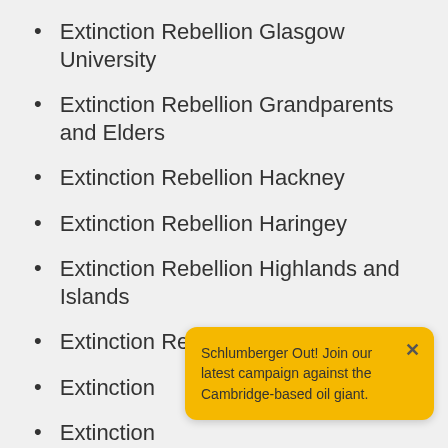Extinction Rebellion Glasgow University
Extinction Rebellion Grandparents and Elders
Extinction Rebellion Hackney
Extinction Rebellion Haringey
Extinction Rebellion Highlands and Islands
Extinction Rebellion Huddersfield
Extinction [partially obscured]
Extinction [partially obscured]
Schlumberger Out! Join our latest campaign against the Cambridge-based oil giant.